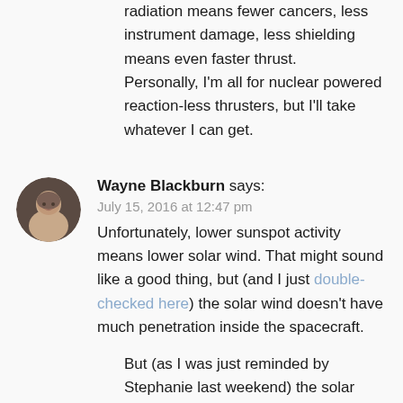radiation means fewer cancers, less instrument damage, less shielding means even faster thrust. Personally, I'm all for nuclear powered reaction-less thrusters, but I'll take whatever I can get.
[Figure (photo): Circular avatar photo of Wayne Blackburn, a man facing the camera]
Wayne Blackburn says:
July 15, 2016 at 12:47 pm
Unfortunately, lower sunspot activity means lower solar wind. That might sound like a good thing, but (and I just double-checked here) the solar wind doesn't have much penetration inside the spacecraft.
But (as I was just reminded by Stephanie last weekend) the solar wind